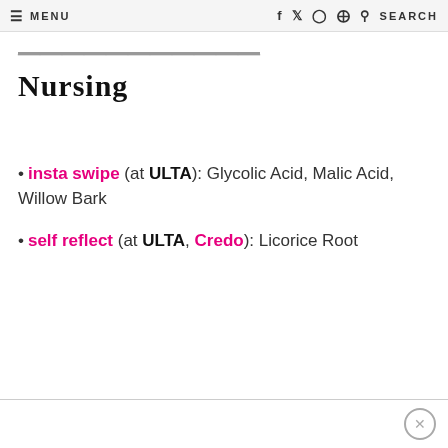MENU | f t instagram pinterest SEARCH
...Nursing
insta swipe (at ULTA): Glycolic Acid, Malic Acid, Willow Bark
self reflect (at ULTA, Credo): Licorice Root